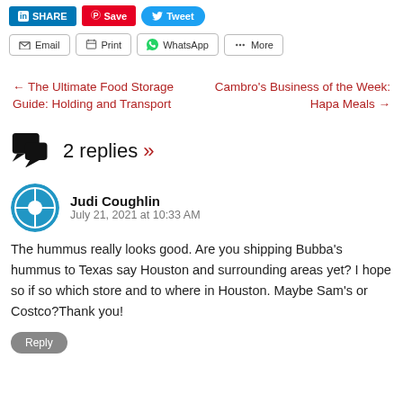[Figure (other): Social share buttons: LinkedIn Share, Pinterest Save, Twitter Tweet]
[Figure (other): Action buttons: Email, Print, WhatsApp, More]
← The Ultimate Food Storage Guide: Holding and Transport
Cambro's Business of the Week: Hapa Meals →
2 replies »
Judi Coughlin
July 21, 2021 at 10:33 AM
The hummus really looks good. Are you shipping Bubba's hummus to Texas say Houston and surrounding areas yet? I hope so if so which store and to where in Houston. Maybe Sam's or Costco?Thank you!
Reply